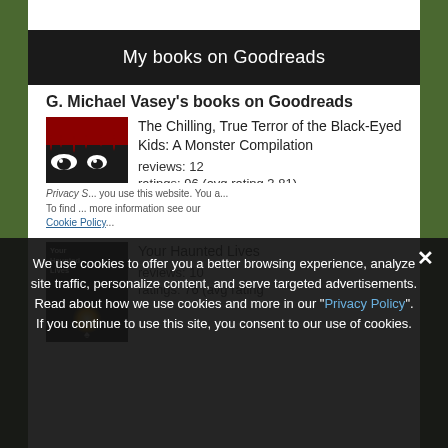My books on Goodreads
G. Michael Vasey's books on Goodreads
The Chilling, True Terror of the Black-Eyed Kids: A Monster Compilation
reviews: 12
ratings: 96 (avg rating 3.81)
Your Haunted Lives
reviews: 10
ratings: 76 (avg rating
Privacy S... see this website. You a... To find ... Cookie Policy...
We use cookies to offer you a better browsing experience, analyze site traffic, personalize content, and serve targeted advertisements. Read about how we use cookies and more in our "Privacy Policy". If you continue to use this site, you consent to our use of cookies.